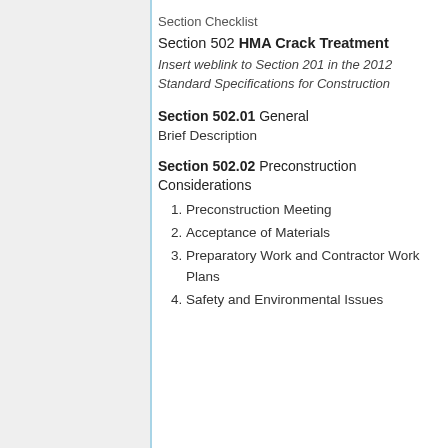Section Checklist
Section 502 HMA Crack Treatment
Insert weblink to Section 201 in the 2012 Standard Specifications for Construction
Section 502.01 General
Brief Description
Section 502.02 Preconstruction Considerations
1. Preconstruction Meeting
2. Acceptance of Materials
3. Preparatory Work and Contractor Work Plans
4. Safety and Environmental Issues